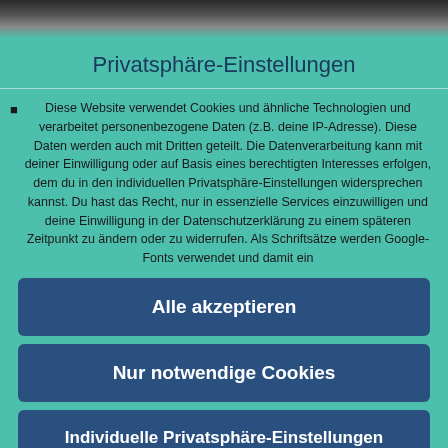[Figure (photo): Photo strip at top showing people]
Privatsphäre-Einstellungen
Diese Website verwendet Cookies und ähnliche Technologien und verarbeitet personenbezogene Daten (z.B. deine IP-Adresse). Diese Daten werden auch mit Dritten geteilt. Die Datenverarbeitung kann mit deiner Einwilligung oder auf Basis eines berechtigten Interesses erfolgen, dem du in den individuellen Privatsphäre-Einstellungen widersprechen kannst. Du hast das Recht, nur in essenzielle Services einzuwilligen und deine Einwilligung in der Datenschutzerklärung zu einem späteren Zeitpunkt zu ändern oder zu widerrufen. Als Schriftsätze werden Google-Fonts verwendet und damit ein
Alle akzeptieren
Nur notwendige Cookies
Individuelle Privatsphäre-Einstellungen
Datenschutzerklärung • Impressum
WordPress Cookie Plugin von Real Cookie Banner